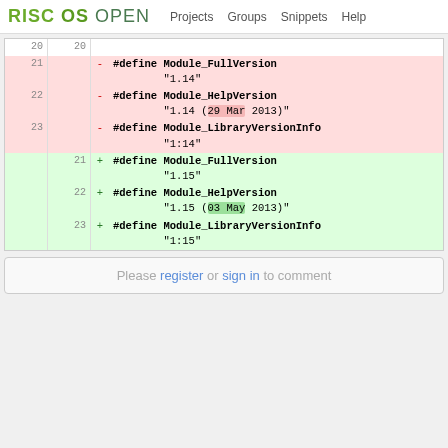RISC OS OPEN  Projects  Groups  Snippets  Help
| old | new | sign | code |
| --- | --- | --- | --- |
| 20 | 20 |  |  |
| 21 |  | - | #define Module_FullVersion "1.14" |
| 22 |  | - | #define Module_HelpVersion "1.14 (29 Mar 2013)" |
| 23 |  | - | #define Module_LibraryVersionInfo "1:14" |
|  | 21 | + | #define Module_FullVersion "1.15" |
|  | 22 | + | #define Module_HelpVersion "1.15 (03 May 2013)" |
|  | 23 | + | #define Module_LibraryVersionInfo "1:15" |
Please register or sign in to comment